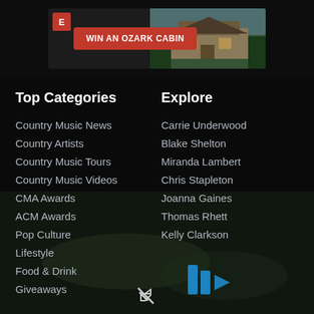[Figure (screenshot): Banner advertisement: WIN AN OZARK CABIN with red button and cabin photo background]
Top Categories
Explore
Country Music News
Country Artists
Country Music Tours
Country Music Videos
CMA Awards
ACM Awards
Pop Culture
Lifestyle
Food & Drink
Giveaways
Carrie Underwood
Blake Shelton
Miranda Lambert
Chris Stapleton
Joanna Gaines
Thomas Rhett
Kelly Clarkson
[Figure (screenshot): Video player overlay with blue play/pause controls icon and mute icon, dark semi-transparent background over outdoor concert image]